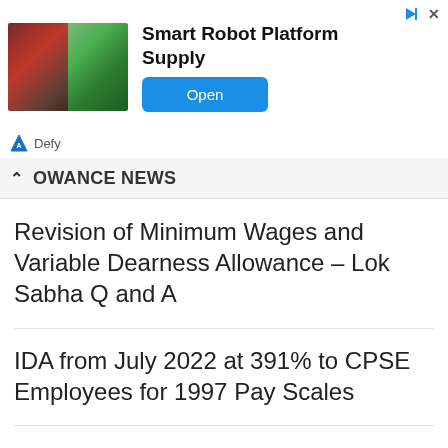[Figure (screenshot): Advertisement banner for Smart Robot Platform Supply with two robot images, an Open button, and Defy brand logo]
OWANCE NEWS
Revision of Minimum Wages and Variable Dearness Allowance – Lok Sabha Q and A
IDA from July 2022 at 391% to CPSE Employees for 1997 Pay Scales
DA from July 2022 at 190.8% to CPSE Employees for 2007 Pay Scales